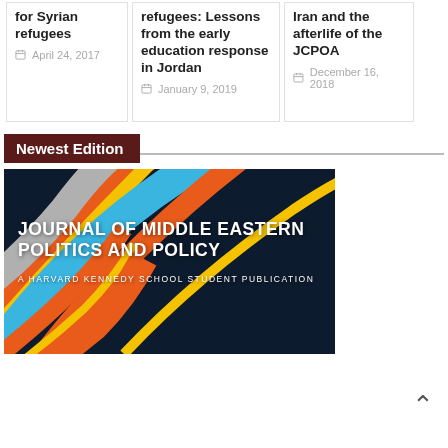for Syrian refugees
April 24, 2017
refugees: Lessons from the early education response in Jordan
January 9, 2019
Iran and the afterlife of the JCPOA
December 16, 2018
Newest Edition
[Figure (illustration): Journal of Middle Eastern Politics and Policy cover — colorful geometric curved stripes in orange, blue, yellow, grey over dark background. Text reads: JOURNAL OF MIDDLE EASTERN POLITICS AND POLICY, A HARVARD KENNEDY SCHOOL STUDENT PUBLICATION]